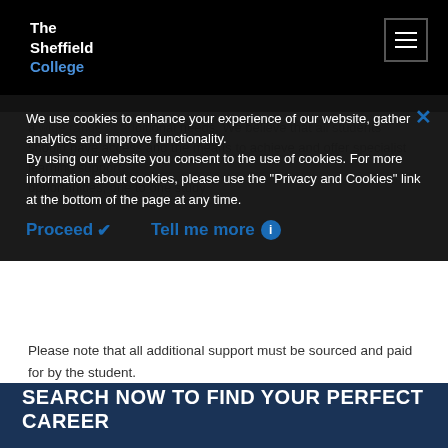The Sheffield College
[Figure (screenshot): Cookie consent overlay on The Sheffield College website with Proceed and Tell me more buttons]
We use cookies to enhance your experience of our website, gather analytics and improve functionality. By using our website you consent to the use of cookies. For more information about cookies, please use the "Privacy and Cookies" link at the bottom of the page at any time.
equipment and resources.
Please note that all additional support must be sourced and paid for by the student.
SEARCH NOW TO FIND YOUR PERFECT CAREER